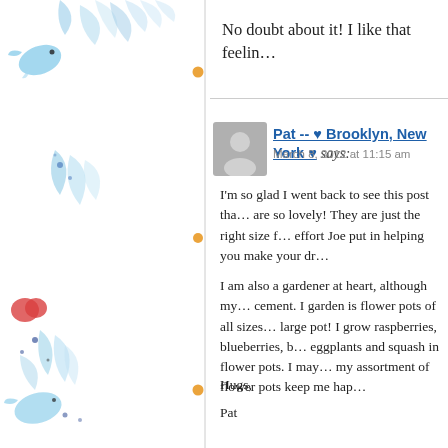No doubt about it! I like that feelin...
[Figure (illustration): Decorative left sidebar with light blue floral/bird watercolor illustrations and small orange dots on a white background, with a vertical grey divider line]
Pat -- ♥ Brooklyn, New York ♥ says:
March 8, 2012 at 11:15 am
I'm so glad I went back to see this post tha... are so lovely! They are just the right size f... effort Joe put in helping you make your dr...
I am also a gardener at heart, although my... cement. I garden is flower pots of all sizes... large pot! I grow raspberries, blueberries, b... eggplants and squash in flower pots. I may... my assortment of flower pots keep me hap...
Hugs,
Pat